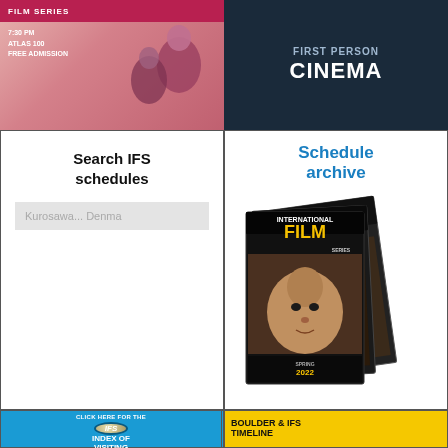[Figure (illustration): International Film Series banner with pink/rose background, text '7:30 PM ATLAS 100 FREE ADMISSION' and silhouette of two people]
[Figure (logo): First Person Cinema logo on dark navy background with white text]
Search IFS schedules
Kurosawa... Denmark
[Figure (illustration): Schedule archive section with blue heading text and stack of International Film Series program booklets, Spring 2022 visible]
[Figure (illustration): Blue banner: CLICK HERE FOR THE IFS INDEX OF VISITING with IFS logo circle]
[Figure (illustration): Yellow banner: BOULDER & IFS TIMELINE with person's face looking up]